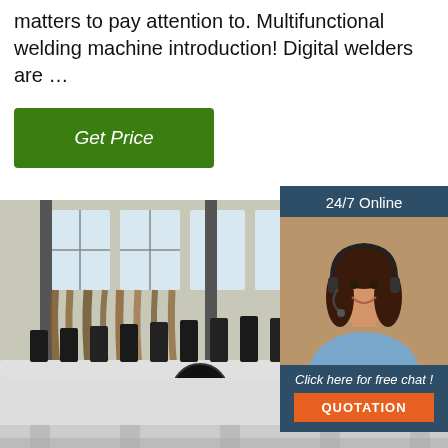matters to pay attention to. Multifunctional welding machine introduction! Digital welders are …
[Figure (other): Green 'Get Price' button]
[Figure (other): 24/7 Online chat widget with photo of customer service representative, 'Click here for free chat!' text, and orange QUOTATION button]
[Figure (photo): Industrial workshop photo showing a conveyor or roller welding machine assembly line with hanging cables/hoses in background]